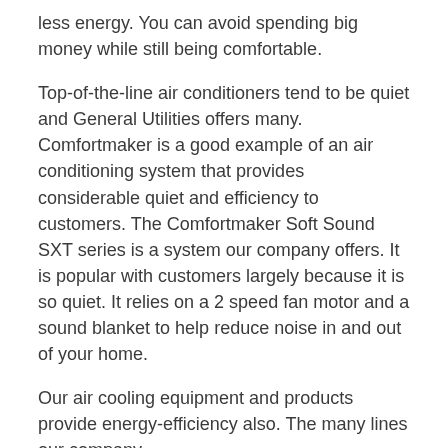less energy. You can avoid spending big money while still being comfortable.
Top-of-the-line air conditioners tend to be quiet and General Utilities offers many. Comfortmaker is a good example of an air conditioning system that provides considerable quiet and efficiency to customers. The Comfortmaker Soft Sound SXT series is a system our company offers. It is popular with customers largely because it is so quiet. It relies on a 2 speed fan motor and a sound blanket to help reduce noise in and out of your home.
Our air cooling equipment and products provide energy-efficiency also. The many lines our company